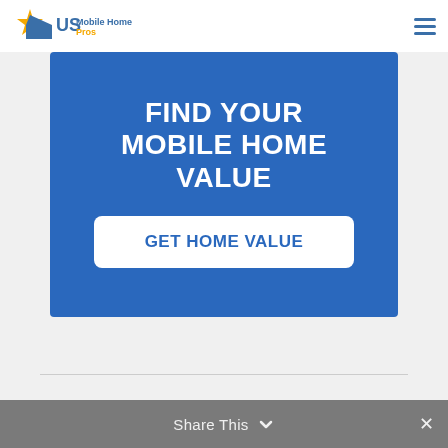[Figure (logo): US Mobile Home Pros logo with star and house icon, text 'US Mobile Home Pros']
[Figure (infographic): Blue banner with white bold text 'FIND YOUR MOBILE HOME VALUE' and a white button labeled 'GET HOME VALUE']
Share This ✓  ✕